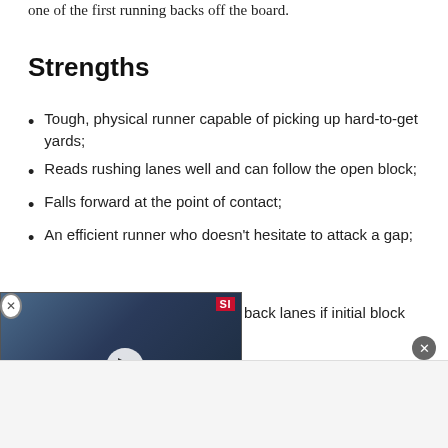one of the first running backs off the board.
Strengths
Tough, physical runner capable of picking up hard-to-get yards;
Reads rushing lanes well and can follow the open block;
Falls forward at the point of contact;
An efficient runner who doesn’t hesitate to attack a gap;
back lanes if initial block
[Figure (screenshot): Video player overlay showing a man in a baseball cap. Caption reads: SAM DARNOLD IS EXPECTED TO MISS FOUR TO SIX WEEKS WITH WHAT IS BELIEVED TO BE A HIGH ANKLE SPRAIN, ACCORDING TO NFL NETWORK'S [reporter]. SI logo visible top right. Play button in center.]